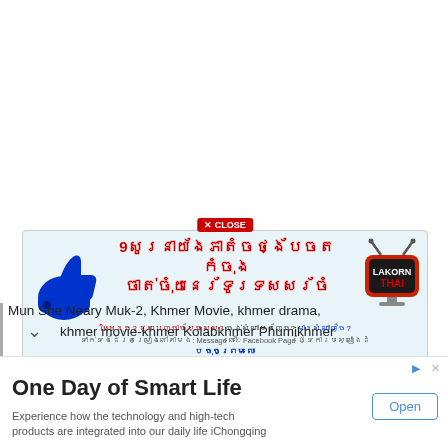[Figure (infographic): Khmer language advertisement banner with thumbs up icon, red Khmer script text, and Lakorn Thai TV logo. Contains close button and smaller Khmer text rows below.]
Mun Sne Neary Muk-2, Khmer Movie, khmer drama, khmer movie-khmer Kolabkhmer Phumikhmer
[Figure (infographic): Bottom advertisement strip: 'One Day of Smart Life' with Open button. Text: Experience how the technology and high-tech products are integrated into our daily life iChongqing]